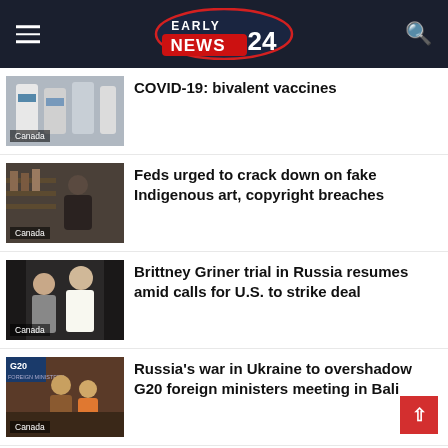EARLY NEWS 24
[Figure (photo): Thumbnail image of COVID-19 vaccine vials with Canada label]
COVID-19: bivalent vaccines
[Figure (photo): Thumbnail image of person in workshop with Canada label]
Feds urged to crack down on fake Indigenous art, copyright breaches
[Figure (photo): Thumbnail image of people with Canada label — Brittney Griner story]
Brittney Griner trial in Russia resumes amid calls for U.S. to strike deal
[Figure (photo): Thumbnail image from G20 event with Canada label]
Russia's war in Ukraine to overshadow G20 foreign ministers meeting in Bali
[Figure (photo): Thumbnail image of airport/travellers]
Feds intend to keep ArriveCan for its data on COVID-19 positive travellers: